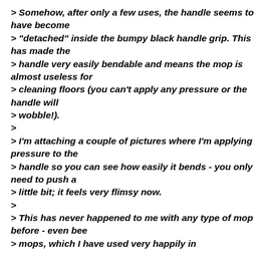> Somehow, after only a few uses, the handle seems to have become "detached" inside the bumpy black handle grip. This has made the > handle very easily bendable and means the mop is almost useless for > cleaning floors (you can't apply any pressure or the handle will > wobble!). > > I'm attaching a couple of pictures where I'm applying pressure to the > handle so you can see how easily it bends - you only need to push a > little bit; it feels very flimsy now. > > This has never happened to me with any type of mop before - even bee > mops, which I have used very happily in